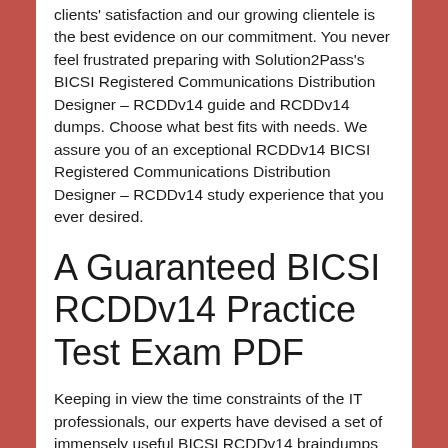clients' satisfaction and our growing clientele is the best evidence on our commitment. You never feel frustrated preparing with Solution2Pass's BICSI Registered Communications Distribution Designer – RCDDv14 guide and RCDDv14 dumps. Choose what best fits with needs. We assure you of an exceptional RCDDv14 BICSI Registered Communications Distribution Designer – RCDDv14 study experience that you ever desired.
A Guaranteed BICSI RCDDv14 Practice Test Exam PDF
Keeping in view the time constraints of the IT professionals, our experts have devised a set of immensely useful BICSI RCDDv14 braindumps that are packed with the vitally important information. These BICSI RCDDv14 dumps are formatted in easy RCDDv14 questions and answers in simple English so that all candidates are equally benefited with them. They won't take much time to grasp all the BICSI RCDDv14 questions and you will be well the important portions of